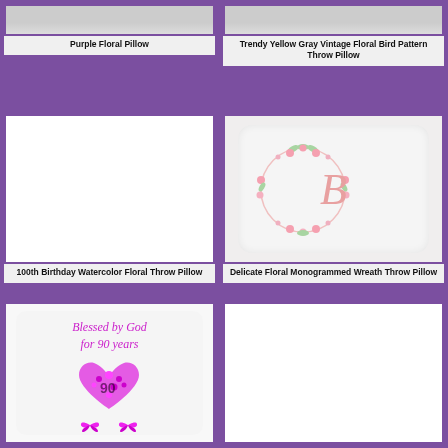[Figure (photo): Purple Floral Pillow - partially cropped at top]
Purple Floral Pillow
[Figure (photo): Trendy Yellow Gray Vintage Floral Bird Pattern Throw Pillow - partially cropped at top]
Trendy Yellow Gray Vintage Floral Bird Pattern Throw Pillow
[Figure (photo): 100th Birthday Watercolor Floral Throw Pillow - blank white image placeholder]
100th Birthday Watercolor Floral Throw Pillow
[Figure (photo): Delicate Floral Monogrammed Wreath Throw Pillow - white pillow with pink letter B inside a floral wreath]
Delicate Floral Monogrammed Wreath Throw Pillow
[Figure (photo): Pillow with text Blessed by God for 90 years with pink heart flower arrangement and butterflies]
[Figure (photo): Blank white placeholder image for another throw pillow]